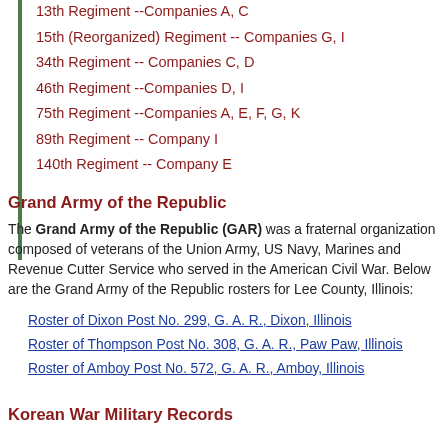13th Regiment --Companies A, C
15th (Reorganized) Regiment -- Companies G, I
34th Regiment -- Companies C, D
46th Regiment --Companies D, I
75th Regiment --Companies A, E, F, G, K
89th Regiment -- Company I
140th Regiment -- Company E
Grand Army of the Republic
The Grand Army of the Republic (GAR) was a fraternal organization composed of veterans of the Union Army, US Navy, Marines and Revenue Cutter Service who served in the American Civil War. Below are the Grand Army of the Republic rosters for Lee County, Illinois:
Roster of Dixon Post No. 299, G. A. R., Dixon, Illinois
Roster of Thompson Post No. 308, G. A. R., Paw Paw, Illinois
Roster of Amboy Post No. 572, G. A. R., Amboy, Illinois
Korean War Military Records